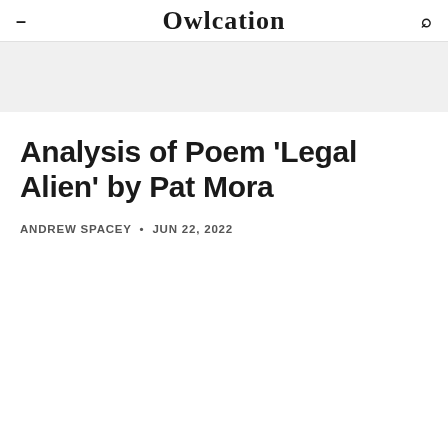Owlcation
Analysis of Poem 'Legal Alien' by Pat Mora
ANDREW SPACEY • JUN 22, 2022